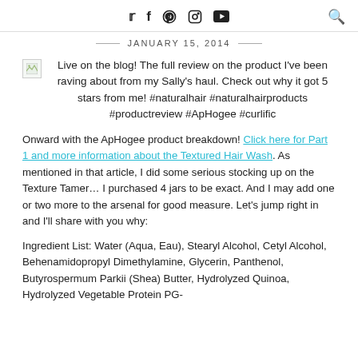Twitter Facebook Pinterest Instagram YouTube [search icon]
JANUARY 15, 2014
[Figure (other): Small image icon placeholder (broken image)]
Live on the blog! The full review on the product I've been raving about from my Sally's haul. Check out why it got 5 stars from me! #naturalhair #naturalhairproducts #productreview #ApHogee #curlific
Onward with the ApHogee product breakdown! Click here for Part 1 and more information about the Textured Hair Wash. As mentioned in that article, I did some serious stocking up on the Texture Tamer… I purchased 4 jars to be exact. And I may add one or two more to the arsenal for good measure. Let's jump right in and I'll share with you why:
Ingredient List: Water (Aqua, Eau), Stearyl Alcohol, Cetyl Alcohol, Behenamidopropyl Dimethylamine, Glycerin, Panthenol, Butyrospermum Parkii (Shea) Butter, Hydrolyzed Quinoa, Hydrolyzed Vegetable Protein PG-